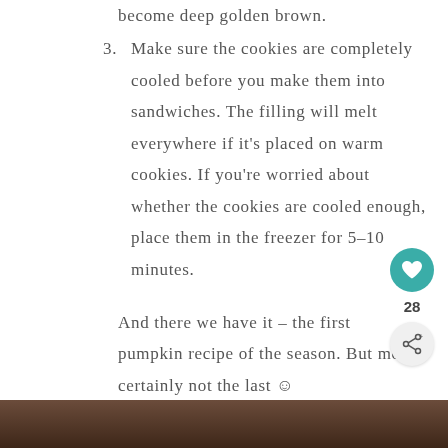become deep golden brown.
3. Make sure the cookies are completely cooled before you make them into sandwiches. The filling will melt everywhere if it's placed on warm cookies. If you're worried about whether the cookies are cooled enough, place them in the freezer for 5-10 minutes.
And there we have it – the first pumpkin recipe of the season. But most certainly not the last ☺
What other pumpkin recipes are you baking this season? Let me know in the comments below!
[Figure (photo): Bottom strip showing a dark brown food photo at the bottom of the page]